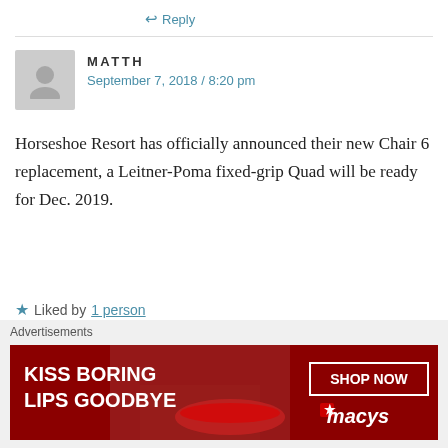↩ Reply
MATTH
September 7, 2018 / 8:20 pm
Horseshoe Resort has officially announced their new Chair 6 replacement, a Leitner-Poma fixed-grip Quad will be ready for Dec. 2019.
★ Liked by 1 person
↩ Reply
REAPERSKIER
September 7, 2018 / 8:50 pm
[Figure (other): Advertisement banner: KISS BORING LIPS GOODBYE - SHOP NOW - macys star logo]
Advertisements